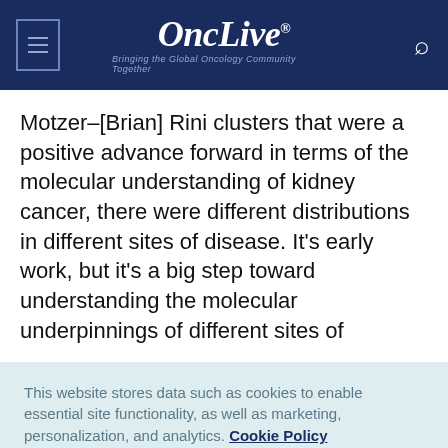OncLive® — Bringing the Global Oncology Community Together
Motzer–[Brian] Rini clusters that were a positive advance forward in terms of the molecular understanding of kidney cancer, there were different distributions in different sites of disease. It's early work, but it's a big step toward understanding the molecular underpinnings of different sites of
This website stores data such as cookies to enable essential site functionality, as well as marketing, personalization, and analytics. Cookie Policy
Accept
Deny